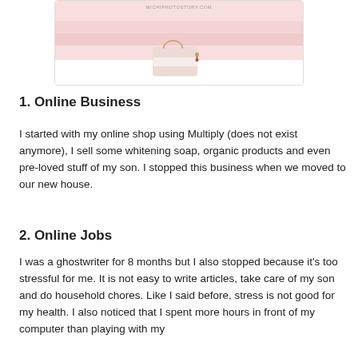[Figure (photo): Photo of a handbag/purse on a pink striped background with michiphotostory.com watermark]
1. Online Business
I started with my online shop using Multiply (does not exist anymore), I sell some whitening soap, organic products and even pre-loved stuff of my son.  I stopped this business when we moved to our new house.
2. Online Jobs
I was a ghostwriter for 8 months but I also stopped because it's too stressful for me. It is not easy to write articles, take care of my son and do household chores. Like I said before, stress is not good for my health. I also noticed that I spent more hours in front of my computer than playing with my